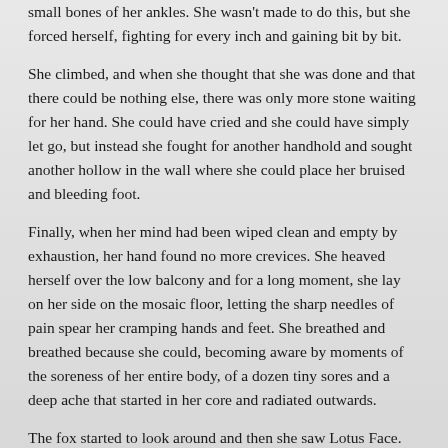small bones of her ankles. She wasn't made to do this, but she forced herself, fighting for every inch and gaining bit by bit.
She climbed, and when she thought that she was done and that there could be nothing else, there was only more stone waiting for her hand. She could have cried and she could have simply let go, but instead she fought for another handhold and sought another hollow in the wall where she could place her bruised and bleeding foot.
Finally, when her mind had been wiped clean and empty by exhaustion, her hand found no more crevices. She heaved herself over the low balcony and for a long moment, she lay on her side on the mosaic floor, letting the sharp needles of pain spear her cramping hands and feet. She breathed and breathed because she could, becoming aware by moments of the soreness of her entire body, of a dozen tiny sores and a deep ache that started in her core and radiated outwards.
The fox started to look around and then she saw Lotus Face.
Lotus Face stood under the eaves, a figure all in mourning white.